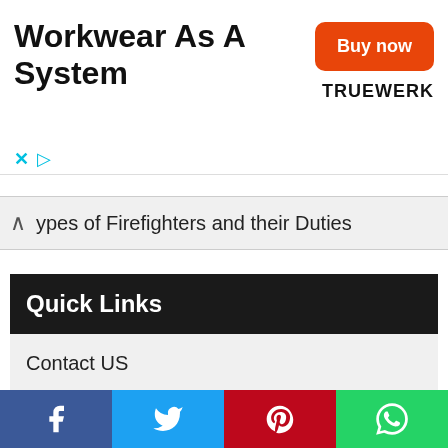[Figure (other): Advertisement banner for Truewerk workwear with 'Buy now' button and brand logo]
Types of Firefighters and their Duties
Quick Links
Contact US
Privacy Policy
Disclaimer
About Us
[Figure (other): Social media share buttons: Facebook, Twitter, Pinterest, WhatsApp]